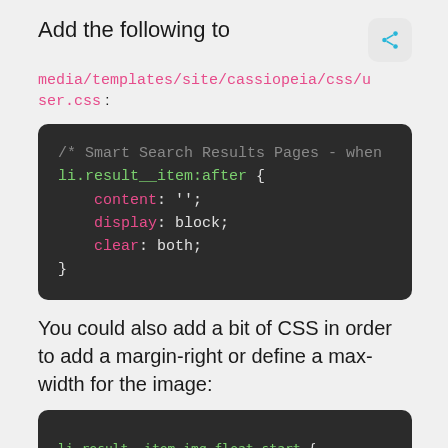Add the following to media/templates/site/cassiopeia/css/user.css:
[Figure (screenshot): Code block on dark background showing CSS: /* Smart Search Results Pages - when / li.result__item:after { content: ''; display: block; clear: both; }]
You could also add a bit of CSS in order to add a margin-right or define a max-width for the image:
[Figure (screenshot): Code block on dark background showing CSS: li.result__item img.float-start { margin-right: 20px; max-width: 250px; }]